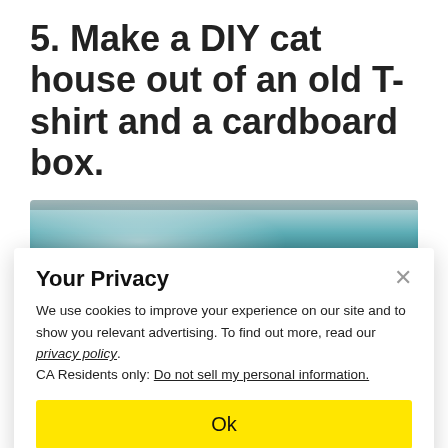5. Make a DIY cat house out of an old T-shirt and a cardboard box.
[Figure (photo): Blurred/partial photo of a cat house or DIY project, with teal and grey tones, partially obscured by a privacy modal overlay.]
Your Privacy
We use cookies to improve your experience on our site and to show you relevant advertising. To find out more, read our privacy policy.
CA Residents only: Do not sell my personal information.
Ok